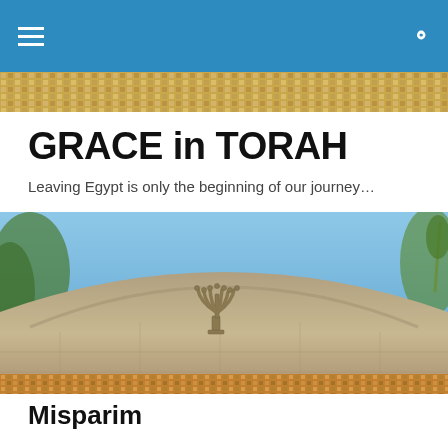GRACE in TORAH — navigation bar
[Figure (photo): Mosaic tile strip at top, colorful stone mosaic pattern]
GRACE in TORAH
Leaving Egypt is only the beginning of our journey…
[Figure (photo): Stone archway with a carved menorah (seven-branched candelabrum) relief set into ancient limestone masonry, blue sky in background, palm fronds visible]
Misparim